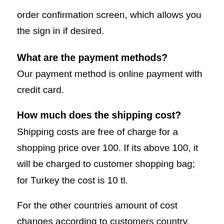order confirmation screen, which allows you the sign in if desired.
What are the payment methods?
Our payment method is online payment with credit card.
How much does the shipping cost?
Shipping costs are free of charge for a shopping price over 100. If its above 100, it will be charged to customer shopping bag; for Turkey the cost is 10 tl.
For the other countries amount of cost changes according to customers country, between 20 and 30 euros.